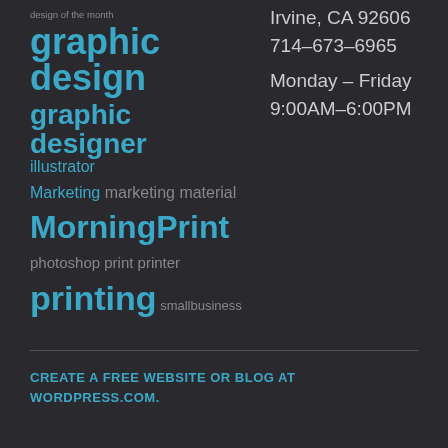design of the month
graphic design
graphic designer illustrator
Marketing marketing material
MorningPrint
photoshop print printer
printing smallbusiness
Irvine, CA 92606
714-673-6965
Monday – Friday
9:00AM–6:00PM
CREATE A FREE WEBSITE OR BLOG AT WORDPRESS.COM.